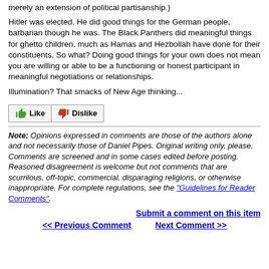merely an extension of political partisanship.)
Hitler was elected. He did good things for the German people, barbarian though he was. The Black Panthers did meaningful things for ghetto children, much as Hamas and Hezbollah have done for their constituents. So what? Doing good things for your own does not mean you are willing or able to be a functioning or honest participant in meaningful negotiations or relationships.
Illumination? That smacks of New Age thinking...
[Figure (other): Like and Dislike buttons with thumbs up and thumbs down icons]
Note: Opinions expressed in comments are those of the authors alone and not necessarily those of Daniel Pipes. Original writing only, please. Comments are screened and in some cases edited before posting. Reasoned disagreement is welcome but not comments that are scurrilous, off-topic, commercial, disparaging religions, or otherwise inappropriate. For complete regulations, see the "Guidelines for Reader Comments".
Submit a comment on this item
<< Previous Comment    Next Comment >>